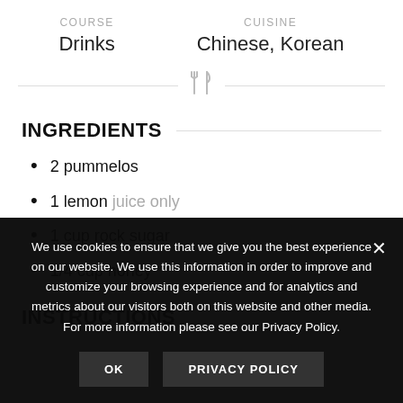COURSE
Drinks
CUISINE
Chinese, Korean
INGREDIENTS
2 pummelos
1 lemon juice only
1 cup rock sugar
1/4 cup honey
INSTRUCTIONS
We use cookies to ensure that we give you the best experience on our website. We use this information in order to improve and customize your browsing experience and for analytics and metrics about our visitors both on this website and other media. For more information please see our Privacy Policy.